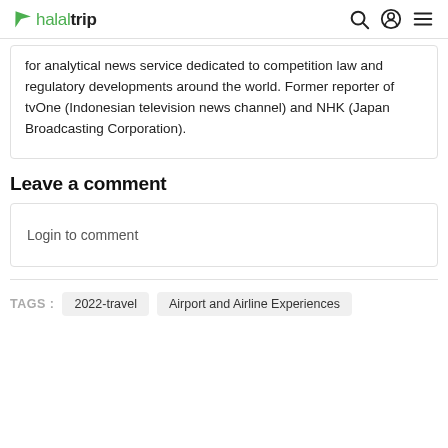halaltrip
for analytical news service dedicated to competition law and regulatory developments around the world. Former reporter of tvOne (Indonesian television news channel) and NHK (Japan Broadcasting Corporation).
Leave a comment
Login to comment
TAGS :  2022-travel  Airport and Airline Experiences